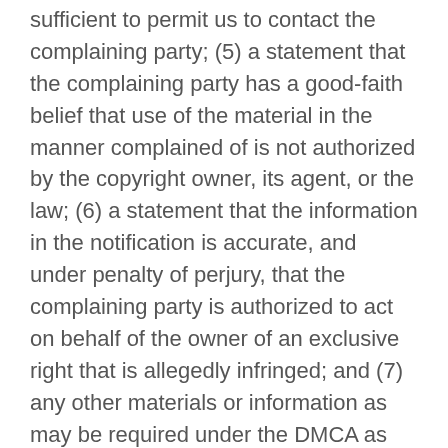sufficient to permit us to contact the complaining party; (5) a statement that the complaining party has a good-faith belief that use of the material in the manner complained of is not authorized by the copyright owner, its agent, or the law; (6) a statement that the information in the notification is accurate, and under penalty of perjury, that the complaining party is authorized to act on behalf of the owner of an exclusive right that is allegedly infringed; and (7) any other materials or information as may be required under the DMCA as amended from time to time or by the U.S. Copyright Office.
3. Copyright Agent. Pursuant to the DMCA, written notification of claimed copyright infringement must be submitted to Company Designated Copyright Agent using the following contact information: